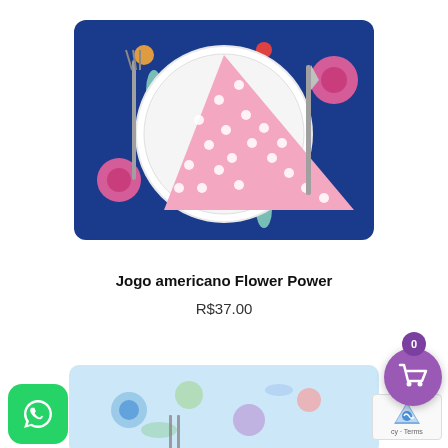[Figure (photo): Blue floral placemat with a white plate, pink polka-dot napkin folded into a triangle, a fork on the left and a knife on the right]
Jogo americano Flower Power
R$37.00
[Figure (photo): Light blue floral placemat with colorful flowers and birds, partially visible]
[Figure (logo): WhatsApp icon button - green rounded square with white phone handset]
[Figure (other): reCAPTCHA widget with logo and 'cy - Terms' text visible]
[Figure (other): Shopping cart button - purple circle with basket icon, badge showing 0]